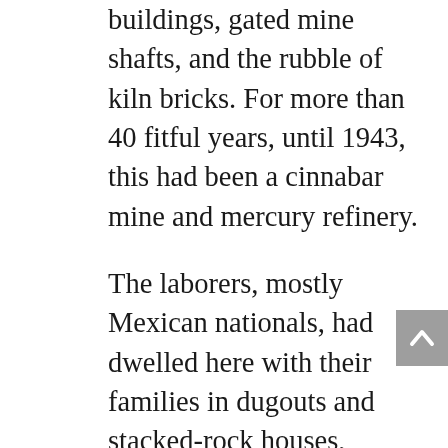buildings, gated mine shafts, and the rubble of kiln bricks. For more than 40 fitful years, until 1943, this had been a cinnabar mine and mercury refinery.
The laborers, mostly Mexican nationals, had dwelled here with their families in dugouts and stacked-rock houses, laboring in inhuman conditions. Some who manned the furnaces lost their teeth, while the worst-off descended into dementia—dangers of mercury poisoning. “The vapors were incredibly toxic,” VandenBerg said.
We broke camp just to the northeast of the mine, at a site called Fresno, our tents grouped in a small clearing in the brush. Sunset saturated the deep greens of the creosote. The ocotillo, with its stems grasping at the sky like